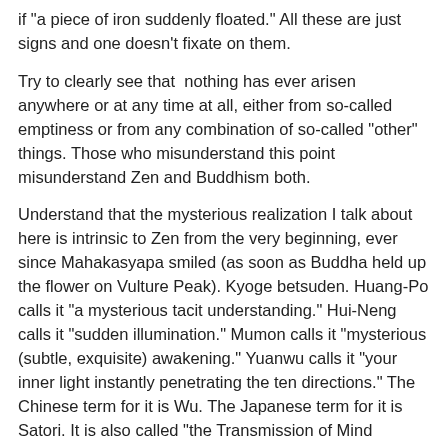if "a piece of iron suddenly floated." All these are just signs and one doesn't fixate on them.
Try to clearly see that nothing has ever arisen anywhere or at any time at all, either from so-called emptiness or from any combination of so-called "other" things. Those who misunderstand this point misunderstand Zen and Buddhism both.
Understand that the mysterious realization I talk about here is intrinsic to Zen from the very beginning, ever since Mahakasyapa smiled (as soon as Buddha held up the flower on Vulture Peak). Kyoge betsuden. Huang-Po calls it "a mysterious tacit understanding." Hui-Neng calls it "sudden illumination." Mumon calls it "mysterious (subtle, exquisite) awakening." Yuanwu calls it "your inner light instantly penetrating the ten directions." The Chinese term for it is Wu. The Japanese term for it is Satori. It is also called "the Transmission of Mind Outside Teachings." It is attained by leaping over, cutting off, or completely detaching from all conceptual thinking. It is the very substance and marrow of Zen.